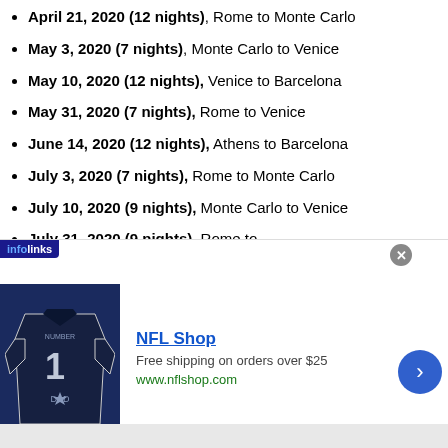April 21, 2020 (12 nights), Rome to Monte Carlo
May 3, 2020 (7 nights), Monte Carlo to Venice
May 10, 2020 (12 nights), Venice to Barcelona
May 31, 2020 (7 nights), Rome to Venice
June 14, 2020 (12 nights), Athens to Barcelona
July 3, 2020 (7 nights), Rome to Monte Carlo
July 10, 2020 (9 nights), Monte Carlo to Venice
July 31, 2020 (9 nights), Rome to Barcelona
[Figure (other): NFL Shop advertisement banner with Dallas Cowboys jersey image. Text: NFL Shop, Free shipping on orders over $25, www.nflshop.com]